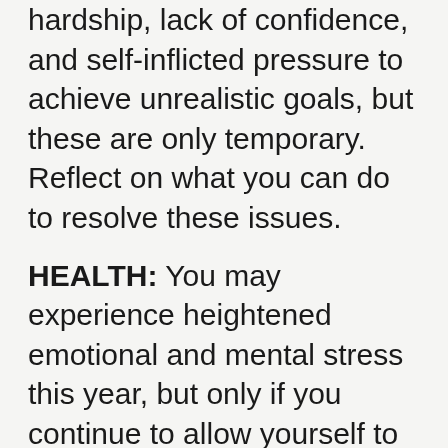hardship, lack of confidence, and self-inflicted pressure to achieve unrealistic goals, but these are only temporary. Reflect on what you can do to resolve these issues.
HEALTH: You may experience heightened emotional and mental stress this year, but only if you continue to allow yourself to be affected by your negative thoughts. Remember that nothing is ever as bad as your mind may make it seem.
Year of the Goat
Born in the years: 1919, 1931, 1943, 1955, 1967, 1979, 1991, 2003, 2015
In whatever situation you may find yourself in